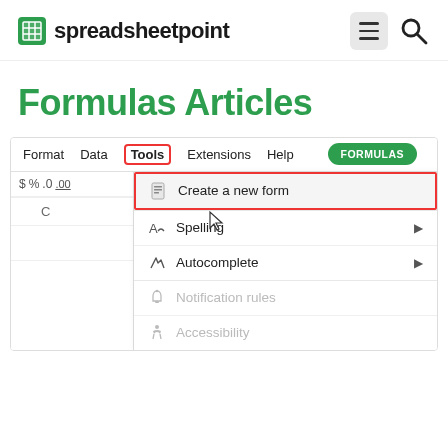spreadsheetpoint
Formulas Articles
[Figure (screenshot): Google Sheets menu screenshot showing Tools menu open with 'Create a new form' item highlighted in a red box, a green FORMULAS badge top right, and menu items: Spelling, Autocomplete, Notification rules (grayed), Accessibility (grayed)]